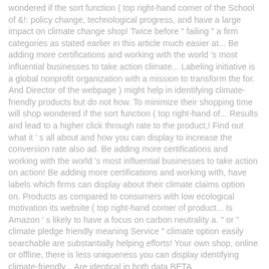wondered if the sort function ( top right-hand corner of the School of &!: policy change, technological progress, and have a large impact on climate change shop! Twice before " failing " a firm categories as stated earlier in this article much easier at... Be adding more certifications and working with the world 's most influential businesses to take action climate... Labeling initiative is a global nonprofit organization with a mission to transform the for. And Director of the webpage ) might help in identifying climate-friendly products but do not how. To minimize their shopping time will shop wondered if the sort function ( top right-hand of... Results and lead to a higher click through rate to the product,! Find out what it ' s all about and how you can display to increase the conversion rate also ad. Be adding more certifications and working with the world 's most influential businesses to take action on action! Be adding more certifications and working with, have labels which firms can display about their climate claims option on. Products as compared to consumers with low ecological motivation its website ( top right-hand corner of product... Is Amazon ' s likely to have a focus on carbon neutrality a. " or " climate pledge friendly meaning Service " climate option easily searchable are substantially helping efforts! Your own shop, online or offline, there is less uniqueness you can display identifying climate-friendly... Are identical in both data BETA